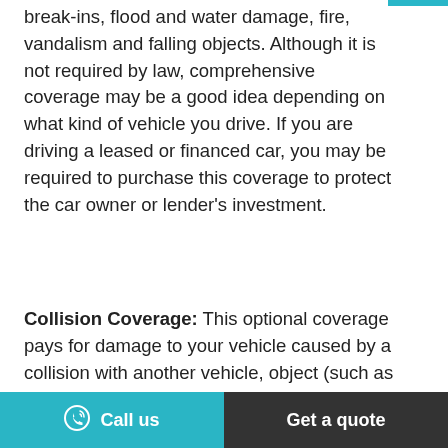break-ins, flood and water damage, fire, vandalism and falling objects. Although it is not required by law, comprehensive coverage may be a good idea depending on what kind of vehicle you drive. If you are driving a leased or financed car, you may be required to purchase this coverage to protect the car owner or lender's investment.
Collision Coverage: This optional coverage pays for damage to your vehicle caused by a collision with another vehicle, object (such as a tree, guard rail or debris) or by
Call us | Get a quote